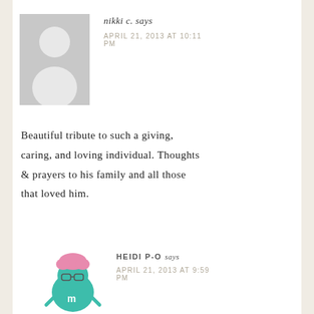[Figure (photo): Generic grey placeholder avatar silhouette for user nikki c.]
nikki c. says
APRIL 21, 2013 AT 10:11 PM
Beautiful tribute to such a giving, caring, and loving individual. Thoughts & prayers to his family and all those that loved him.
[Figure (illustration): Cartoon M&M character with pink hair and glasses, teal colored body, for user Heidi P-O]
HEIDI P-O says
APRIL 21, 2013 AT 9:59 PM